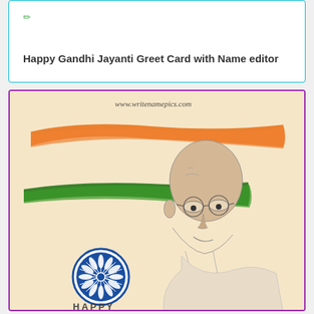Happy Gandhi Jayanti Greet Card with Name editor
[Figure (illustration): Happy Gandhi Jayanti greeting card illustration with sketch of Mahatma Gandhi, Indian flag colors (orange and green brush strokes) on beige background, Ashoka Chakra emblem, 'HAPPY Gandhi' text, and watermark 'www.writenamepics.com']